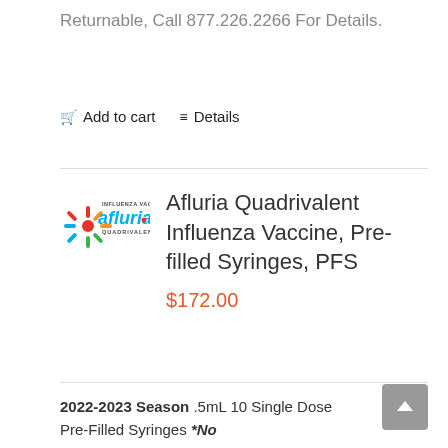Returnable, Call 877.226.2266 For Details.
Add to cart   Details
[Figure (logo): Afluria Quadrivalent Influenza Vaccine logo with colorful rays and text]
Afluria Quadrivalent Influenza Vaccine, Pre-filled Syringes, PFS
$172.00
2022-2023 Season .5mL 10 Single Dose Pre-Filled Syringes *No